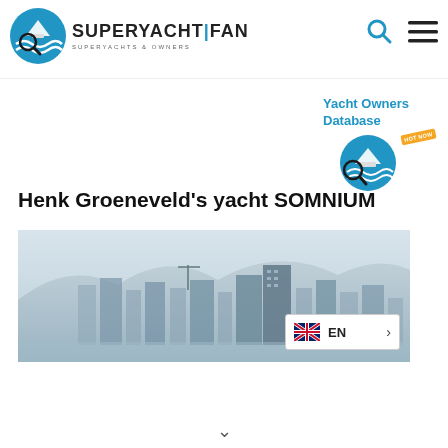SUPERYACHT | FAN — SUPERYACHTS & OWNERS
[Figure (logo): SuperyachtFan logo with magnifying glass over a yacht and blue waves, next to bold text SUPERYACHT|FAN and subtitle SUPERYACHTS & OWNERS]
[Figure (illustration): Yacht Owners Database widget with the SuperyachtFan logo icon and a HOT NOW badge]
Henk Groeneveld's yacht SOMNIUM
[Figure (photo): Cityscape with tall modern buildings and mountains in fog/mist in the background — likely Monaco]
EN